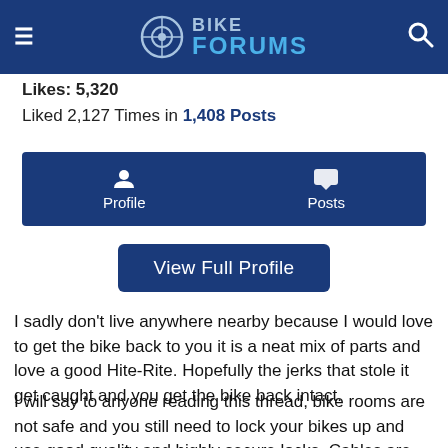Bike Forums
Likes: 5,320
Liked 2,127 Times in 1,408 Posts
Profile   Posts
View Full Profile
I sadly don't live anywhere nearby because I would love to get the bike back to you it is a neat mix of parts and love a good Hite-Rite. Hopefully the jerks that stole it get caught and you get the bike back intact.
I will say to anyone reading this thread, bike rooms are not safe and you still need to lock your bikes up and use good quality and highly secure locks. Cables are not locks they are light theft deterrents in most places. Also make sure you are locking frame and rear wheel because generally that is your most valuable wheel. It is good to also have some form